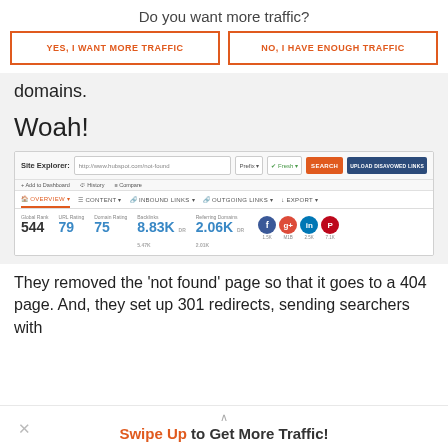Do you want more traffic?
YES, I WANT MORE TRAFFIC
NO, I HAVE ENOUGH TRAFFIC
domains.
Woah!
[Figure (screenshot): Ahrefs Site Explorer screenshot showing hubspot.com/not-found with Global Rank 544, URL Rating 79, Domain Rating 75, Backlinks 8.83K, Referring Domains 2.06K, and social share counts (Facebook 1.5K, Google+ M1B, LinkedIn 2.5K, Pinterest 7.1K)]
They removed the 'not found' page so that it goes to a 404 page. And, they set up 301 redirects, sending searchers with
Swipe Up to Get More Traffic!